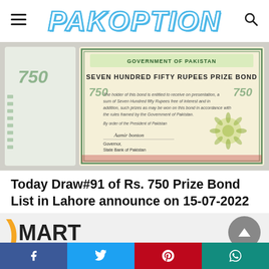PAKOPTION
[Figure (photo): Seven Hundred Fifty Rupees Prize Bond certificate from Government of Pakistan, showing bond number 750, decorative border, script text about the holder being entitled to receive on presentation a sum of Seven Hundred Fifty Rupees free of interest, signed by Governor State Bank of Pakistan.]
Today Draw#91 of Rs. 750 Prize Bond List in Lahore announce on 15-07-2022
[Figure (logo): Smart Mart advertisement logo with orange S and black MART text]
Facebook | Twitter | Pinterest | WhatsApp social share bar